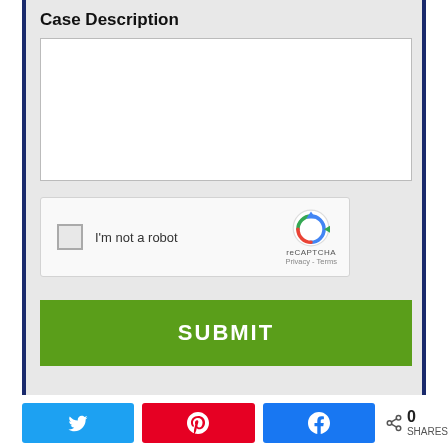Case Description
[Figure (screenshot): Empty text area input field for case description]
[Figure (screenshot): reCAPTCHA widget with checkbox and 'I'm not a robot' text, reCAPTCHA logo, Privacy and Terms links]
[Figure (screenshot): Green SUBMIT button]
[Figure (screenshot): Social sharing bar with Twitter, Pinterest, Facebook buttons and share count showing 0 SHARES]